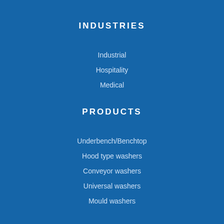INDUSTRIES
Industrial
Hospitality
Medical
PRODUCTS
Underbench/Benchtop
Hood type washers
Conveyor washers
Universal washers
Mould washers